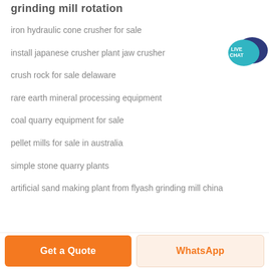grinding mill rotation
iron hydraulic cone crusher for sale
install japanese crusher plant jaw crusher
[Figure (illustration): Live Chat speech bubble icon with teal and dark blue bubbles and text LIVE CHAT]
crush rock for sale delaware
rare earth mineral processing equipment
coal quarry equipment for sale
pellet mills for sale in australia
simple stone quarry plants
artificial sand making plant from flyash grinding mill china
Get a Quote
WhatsApp